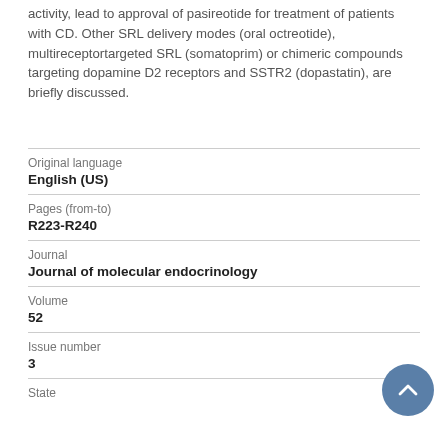activity, lead to approval of pasireotide for treatment of patients with CD. Other SRL delivery modes (oral octreotide), multireceptortargeted SRL (somatoprim) or chimeric compounds targeting dopamine D2 receptors and SSTR2 (dopastatin), are briefly discussed.
| Original language | English (US) |
| Pages (from-to) | R223-R240 |
| Journal | Journal of molecular endocrinology |
| Volume | 52 |
| Issue number | 3 |
| State |  |